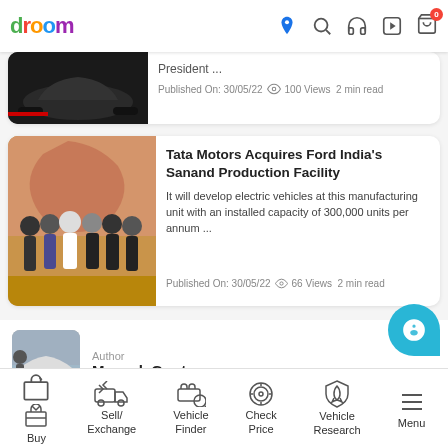droom
[Figure (screenshot): Partial news card showing a dark car image and truncated text 'President ...' with meta: Published On: 30/05/22, 100 Views, 2 min read]
[Figure (photo): News article card with group photo of business people at Tata Motors Ford India Sanand acquisition signing ceremony]
Tata Motors Acquires Ford India's Sanand Production Facility
It will develop electric vehicles at this manufacturing unit with an installed capacity of 300,000 units per annum ...
Published On: 30/05/22  66 Views  2 min read
Author
Mayank Gupta
A mechanical engineering dropout by choice, Mayank has been in the auto journa... for the past 8 years. He is currently working as an Associate Editor at Droom Disc... covering ea... Read more
Buy | Sell/Exchange | Vehicle Finder | Check Price | Vehicle Research | Menu